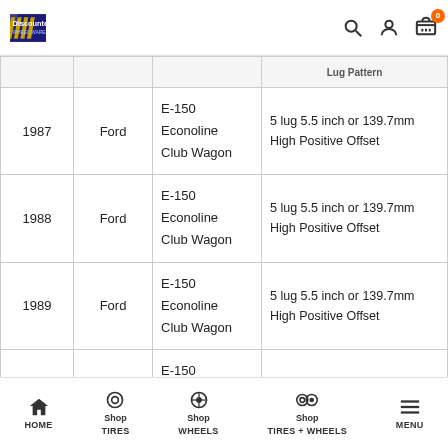Discounted Wheel Warehouse - navigation header with search, account, and cart icons
|  |  |  |  |
| --- | --- | --- | --- |
| 1987 | Ford | E-150 Econoline Club Wagon | 5 lug 5.5 inch or 139.7mm High Positive Offset |
| 1988 | Ford | E-150 Econoline Club Wagon | 5 lug 5.5 inch or 139.7mm High Positive Offset |
| 1989 | Ford | E-150 Econoline Club Wagon | 5 lug 5.5 inch or 139.7mm High Positive Offset |
| 1990 | Ford | E-150 Econoline Club Wagon | 5 lug 5.5 inch or 139.7mm High Positive Offset |
HOME | Shop TIRES | Shop WHEELS | Shop TIRES + WHEELS | MENU